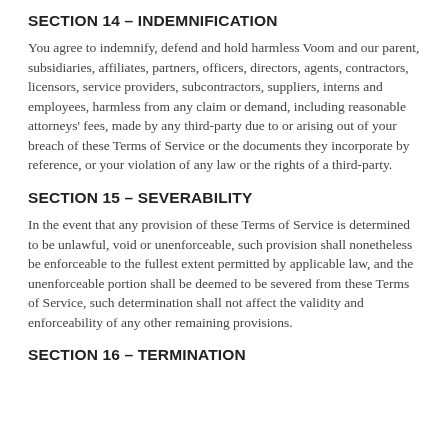SECTION 14 – INDEMNIFICATION
You agree to indemnify, defend and hold harmless Voom and our parent, subsidiaries, affiliates, partners, officers, directors, agents, contractors, licensors, service providers, subcontractors, suppliers, interns and employees, harmless from any claim or demand, including reasonable attorneys' fees, made by any third-party due to or arising out of your breach of these Terms of Service or the documents they incorporate by reference, or your violation of any law or the rights of a third-party.
SECTION 15 – SEVERABILITY
In the event that any provision of these Terms of Service is determined to be unlawful, void or unenforceable, such provision shall nonetheless be enforceable to the fullest extent permitted by applicable law, and the unenforceable portion shall be deemed to be severed from these Terms of Service, such determination shall not affect the validity and enforceability of any other remaining provisions.
SECTION 16 – TERMINATION